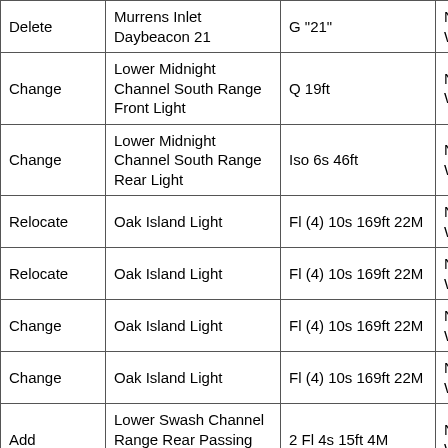| Action | Name | Characteristic | Position |
| --- | --- | --- | --- |
| Delete | Murrens Inlet Daybeacon 21 | G "21" | N 33° 33' 17.299"  W... |
| Change | Lower Midnight Channel South Range Front Light | Q 19ft | N 33° 58' 09.354"  W... |
| Change | Lower Midnight Channel South Range Rear Light | Iso 6s 46ft | N 33° 57' 41.629"  W... |
| Relocate | Oak Island Light | Fl (4) 10s 169ft 22M | N 33° 53' 34.190"  W... |
| Relocate | Oak Island Light | Fl (4) 10s 169ft 22M | N 33° 53' 34.190"  W... |
| Change | Oak Island Light | Fl (4) 10s 169ft 22M | N 33° 53' 34.190"  W... |
| Change | Oak Island Light | Fl (4) 10s 169ft 22M | N 33° 53' 34.190"  W... |
| Add | Lower Swash Channel Range Rear Passing Lights (2) | 2 Fl 4s 15ft 4M | N 33° 56' 04.202"  W... |
|  | Lower Swash |  |  |